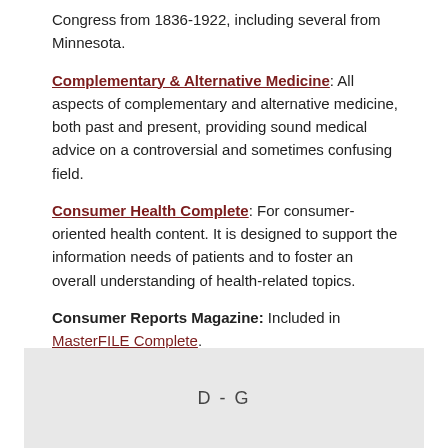Congress from 1836-1922, including several from Minnesota.
Complementary & Alternative Medicine: All aspects of complementary and alternative medicine, both past and present, providing sound medical advice on a controversial and sometimes confusing field.
Consumer Health Complete: For consumer-oriented health content. It is designed to support the information needs of patients and to foster an overall understanding of health-related topics.
Consumer Reports Magazine: Included in MasterFILE Complete.
D - G